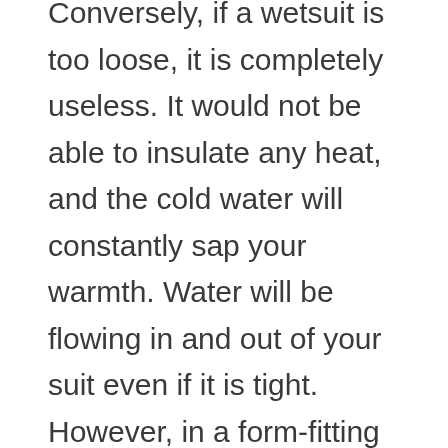Conversely, if a wetsuit is too loose, it is completely useless. It would not be able to insulate any heat, and the cold water will constantly sap your warmth. Water will be flowing in and out of your suit even if it is tight. However, in a form-fitting wetsuit, the rate at which this happens is slow, and you will still feel mostly warm. Loose wetsuits also increase drag underwater, and are cumbersome to wear on the surface.